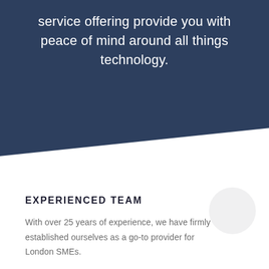service offering provide you with peace of mind around all things technology.
EXPERIENCED TEAM
With over 25 years of experience, we have firmly established ourselves as a go-to provider for London SMEs.